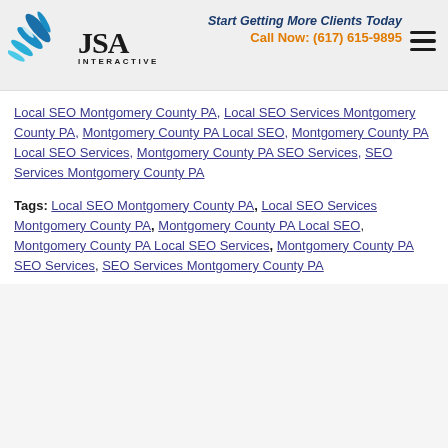[Figure (logo): JSA Interactive logo with blue feather/wing graphic and text 'JSA INTERACTIVE']
Start Getting More Clients Today
Call Now: (617) 615-9895
Local SEO Montgomery County PA, Local SEO Services Montgomery County PA, Montgomery County PA Local SEO, Montgomery County PA Local SEO Services, Montgomery County PA SEO Services, SEO Services Montgomery County PA
Tags: Local SEO Montgomery County PA, Local SEO Services Montgomery County PA, Montgomery County PA Local SEO, Montgomery County PA Local SEO Services, Montgomery County PA SEO Services, SEO Services Montgomery County PA